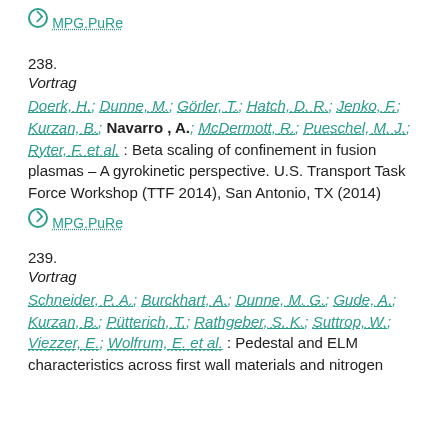MPG.PuRe
238.
Vortrag
Doerk, H.; Dunne, M.; Görler, T.; Hatch, D. R.; Jenko, F.; Kurzan, B.; Navarro , A.; McDermott, R.; Pueschel, M. J.; Ryter, F. et al.: Beta scaling of confinement in fusion plasmas – A gyrokinetic perspective. U.S. Transport Task Force Workshop (TTF 2014), San Antonio, TX (2014)
MPG.PuRe
239.
Vortrag
Schneider, P. A.; Burckhart, A.; Dunne, M. G.; Gude, A.; Kurzan, B.; Pütterich, T.; Rathgeber, S. K.; Suttrop, W.; Viezzer, E.; Wolfrum, E. et al.: Pedestal and ELM characteristics across first wall materials and nitrogen